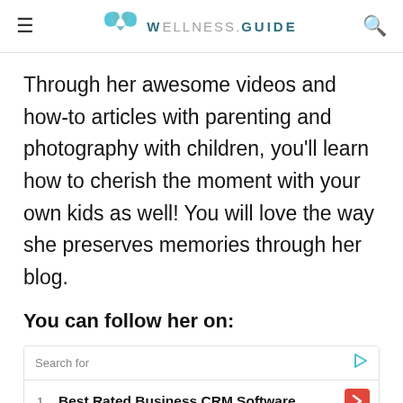WELLNESS.GUIDE
Through her awesome videos and how-to articles with parenting and photography with children, you’ll learn how to cherish the moment with your own kids as well! You will love the way she preserves memories through her blog.
You can follow her on:
Search for
1. Best Rated Business CRM Software
2. Sleep Apnea Treatments Options
Yahoo! Search | Sponsored